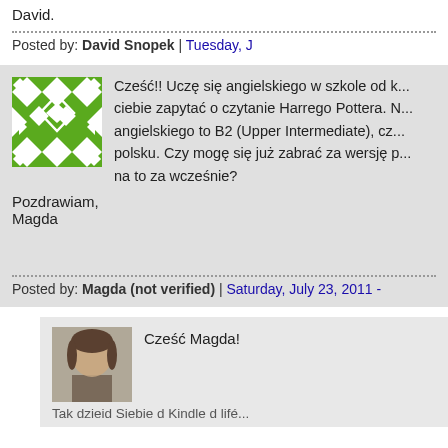David.
Posted by: David Snopek | Tuesday, J...
[Figure (illustration): Green geometric pattern avatar image]
Cześć!! Uczę się angielskiego w szkole od k... ciebie zapytać o czytanie Harrego Pottera. N... angielskiego to B2 (Upper Intermediate), cz... polsku. Czy mogę się już zabrać za wersję p... na to za wcześnie?
Pozdrawiam,
Magda
Posted by: Magda (not verified) | Saturday, July 23, 2011 -
[Figure (photo): Photo of a man outdoors]
Cześć Magda!
Tak dzieid Siebie d Kindle d lifé...